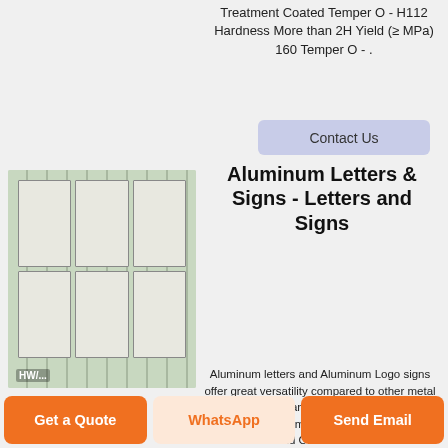Treatment Coated Temper O - H112 Hardness More than 2H Yield (≥ MPa) 160 Temper O - .
Contact Us
[Figure (photo): Stacked aluminum sheets or panels in white/silver packaging bound with green straps, warehouse setting. Label HW/... visible at bottom left.]
Aluminum Letters & Signs - Letters and Signs
Aluminum letters and Aluminum Logo signs offer great versatility compared to other metal sign materials, and they are also the most affordable Metal material we offer. We have Solid Cut Aluminum
Get a Quote
WhatsApp
Send Email